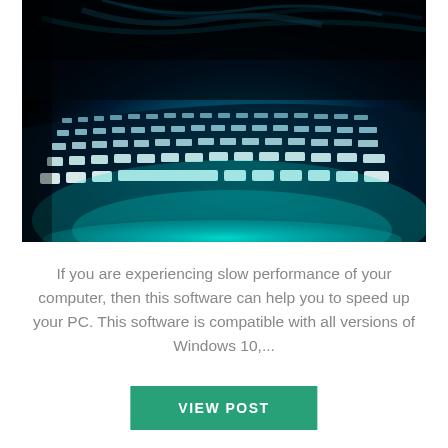[Figure (photo): Close-up photo of a glowing laptop keyboard with blue and teal lighting in a dark environment, showing illuminated keys at an angle.]
If you are experiencing slow performance of your computer, then this software can help you to speed up your PC. This software is compatible with all versions of Windows 10,...
VIEW POST